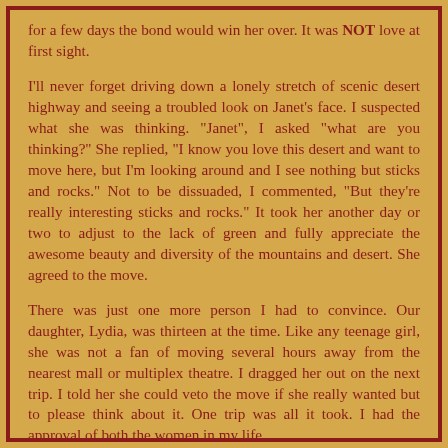for a few days the bond would win her over.  It was NOT love at first sight.
I'll never forget driving down a lonely stretch of scenic desert highway and seeing a troubled look on Janet's face.  I suspected what she was thinking.  "Janet", I asked "what are you thinking?"  She replied, "I know you love this desert and want to move here, but I'm looking around and I see nothing but sticks and rocks."  Not to be dissuaded, I commented, "But they're really interesting sticks and rocks."  It took her another day or two to adjust to the lack of green and fully appreciate the awesome beauty and diversity of the mountains and desert.  She agreed to the move.
There was just one more person I had to convince.  Our daughter, Lydia, was thirteen at the time.  Like any teenage girl, she was not a fan of moving several hours away from the nearest mall or multiplex theatre.  I dragged her out on the next trip.  I told her she could veto the move if she really wanted but to please think about it.  One trip was all it took.  I had the approval of both the women in my life.